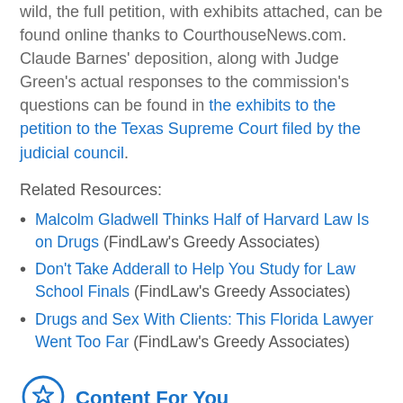wild, the full petition, with exhibits attached, can be found online thanks to CourthouseNews.com. Claude Barnes' deposition, along with Judge Green's actual responses to the commission's questions can be found in the exhibits to the petition to the Texas Supreme Court filed by the judicial council.
Related Resources:
Malcolm Gladwell Thinks Half of Harvard Law Is on Drugs (FindLaw's Greedy Associates)
Don't Take Adderall to Help You Study for Law School Finals (FindLaw's Greedy Associates)
Drugs and Sex With Clients: This Florida Lawyer Went Too Far (FindLaw's Greedy Associates)
Content For You